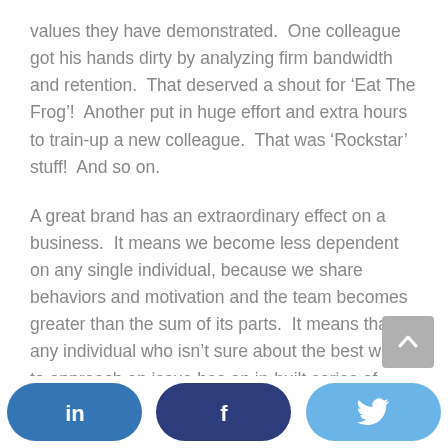values they have demonstrated.  One colleague got his hands dirty by analyzing firm bandwidth and retention.  That deserved a shout for 'Eat The Frog'!  Another put in huge effort and extra hours to train-up a new colleague.  That was 'Rockstar' stuff!  And so on.
A great brand has an extraordinary effect on a business.  It means we become less dependent on any single individual, because we share behaviors and motivation and the team becomes greater than the sum of its parts.  It means that any individual who isn't sure about the best way to approach an issue has an in-built series of values to work with.  And it means that the business becomes known not just for 'what' it does, but for 'how' it does it.